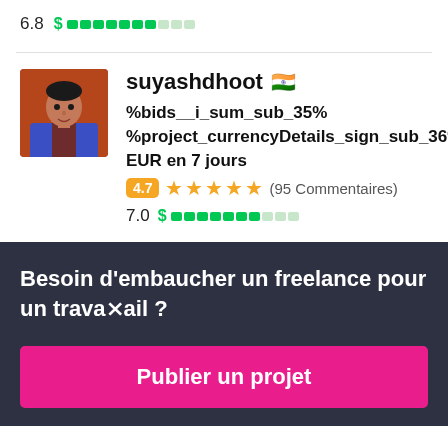6.8 $ ████████░░░
[Figure (photo): Profile photo of suyashdhoot - man in blue blazer and dark shirt]
suyashdhoot 🇮🇳
%bids__i_sum_sub_35% %project_currencyDetails_sign_sub_36% EUR en 7 jours
4.7 ★★★★★ (95 Commentaires)
7.0 $ ████████░░░
Besoin d'embaucher un freelance pour un travail ?
Publier un projet